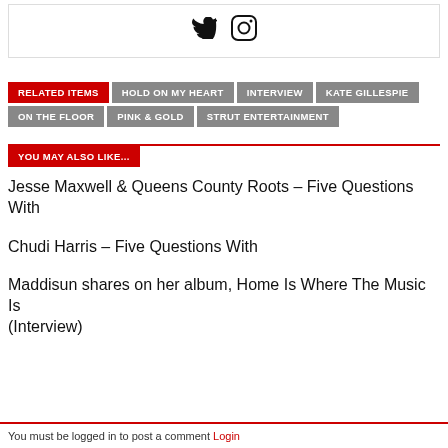[Figure (other): Social media icons: Twitter bird icon and Instagram camera icon]
RELATED ITEMS   HOLD ON MY HEART   INTERVIEW   KATE GILLESPIE   ON THE FLOOR   PINK & GOLD   STRUT ENTERTAINMENT
YOU MAY ALSO LIKE...
Jesse Maxwell & Queens County Roots – Five Questions With
Chudi Harris – Five Questions With
Maddisun shares on her album, Home Is Where The Music Is (Interview)
You must be logged in to post a comment Login